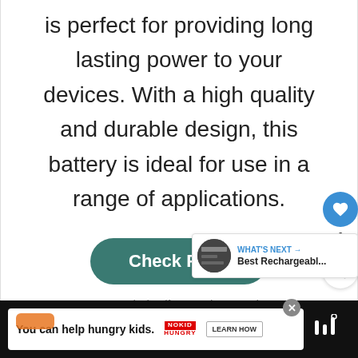is perfect for providing long lasting power to your devices. With a high quality and durable design, this battery is ideal for use in a range of applications.
Check Price
We earn a commission if you make a purchase, at no additional cost to you.
[Figure (screenshot): WHAT'S NEXT panel with thumbnail image and text: Best Rechargeabl...]
[Figure (screenshot): Bottom advertisement bar: You can help hungry kids. NO KID HUNGRY logo. LEARN HOW button. Close button. Music library logo.]